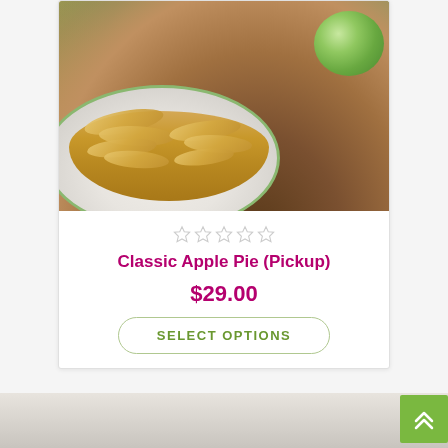[Figure (photo): Photo of classic apple pie slices stacked on a white plate with green rim, wooden table background, green apple visible in upper right corner]
☆☆☆☆☆
Classic Apple Pie (Pickup)
$29.00
SELECT OPTIONS